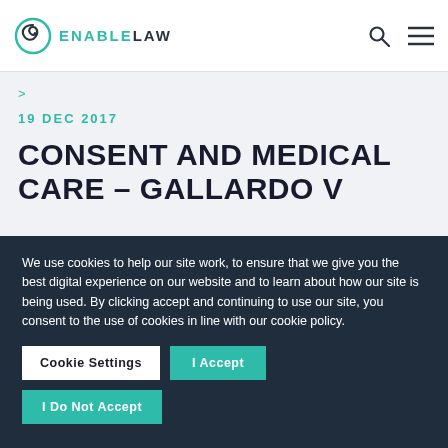Enable Law
>
19 DEC 2017
CONSENT AND MEDICAL CARE – GALLARDO V
We use cookies to help our site work, to ensure that we give you the best digital experience on our website and to learn about how our site is being used. By clicking accept and continuing to use our site, you consent to the use of cookies in line with our cookie policy.
Cookie Settings | I Accept | I Do Not Accept